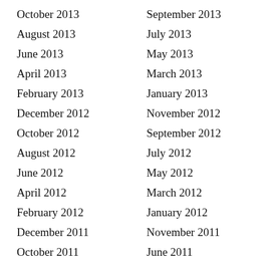October 2013
September 2013
August 2013
July 2013
June 2013
May 2013
April 2013
March 2013
February 2013
January 2013
December 2012
November 2012
October 2012
September 2012
August 2012
July 2012
June 2012
May 2012
April 2012
March 2012
February 2012
January 2012
December 2011
November 2011
October 2011
June 2011